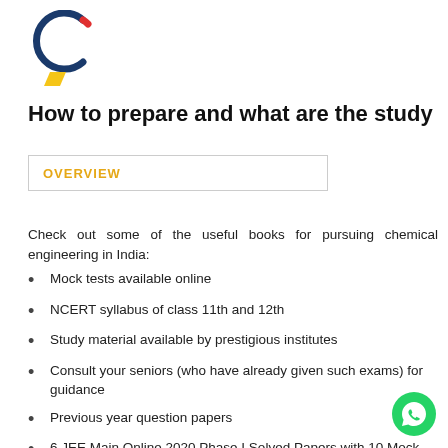[Figure (logo): Circular logo with blue and red C shape and yellow geometric shape below]
How to prepare and what are the study materials available?
OVERVIEW
Check out some of the useful books for pursuing chemical engineering in India:
Mock tests available online
NCERT syllabus of class 11th and 12th
Study material available by prestigious institutes
Consult your seniors (who have already given such exams) for guidance
Previous year question papers
6 JEE Main Online 2020 Phase I Solved Papers with 10 Mock Tests